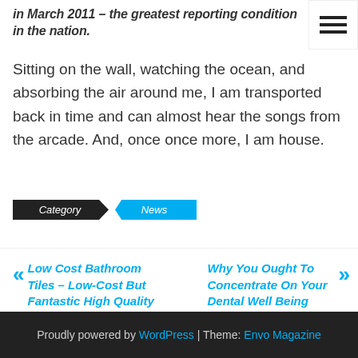in March 2011 – the greatest reporting condition in the nation.
Sitting on the wall, watching the ocean, and absorbing the air around me, I am transported back in time and can almost hear the songs from the arcade. And, once once more, I am house.
Category  News
« Low Cost Bathroom Tiles – Low-Cost But Fantastic High Quality
Why You Ought To Concentrate On Your Dental Well Being Right Now »
Proudly powered by WordPress | Theme: Envo Magazine